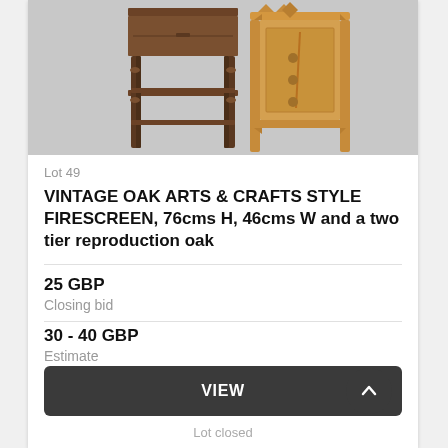[Figure (photo): Two antique wooden furniture pieces: a dark oak two-tier side table on turned legs on the left, and a lighter oak firescreen with decorative carved top and panel on the right, photographed against a grey background.]
Lot 49
VINTAGE OAK ARTS & CRAFTS STYLE FIRESCREEN, 76cms H, 46cms W and a two tier reproduction oak
25 GBP
Closing bid
30 - 40 GBP
Estimate
VIEW
Lot closed